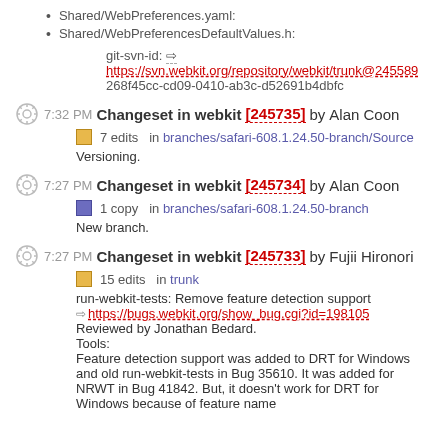Shared/WebPreferences.yaml:
Shared/WebPreferencesDefaultValues.h:
git-svn-id: ⇒ https://svn.webkit.org/repository/webkit/trunk@245589 268f45cc-cd09-0410-ab3c-d52691b4dbfc
7:32 PM Changeset in webkit [245735] by Alan Coon
7 edits  in branches/safari-608.1.24.50-branch/Source
Versioning.
7:27 PM Changeset in webkit [245734] by Alan Coon
1 copy  in branches/safari-608.1.24.50-branch
New branch.
7:27 PM Changeset in webkit [245733] by Fujii Hironori
15 edits  in trunk
run-webkit-tests: Remove feature detection support ⇒ https://bugs.webkit.org/show_bug.cgi?id=198105 Reviewed by Jonathan Bedard. Tools: Feature detection support was added to DRT for Windows and old run-webkit-tests in Bug 35610. It was added for NRWT in Bug 41842. But, it doesn't work for DRT for Windows because of feature name